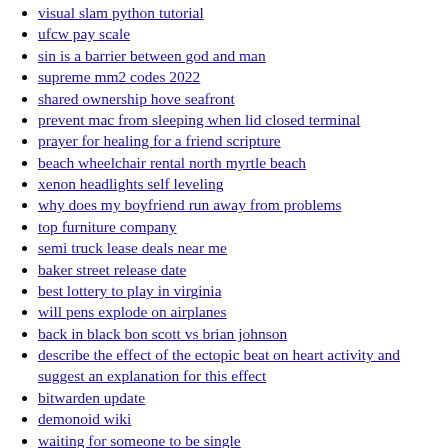visual slam python tutorial
ufcw pay scale
sin is a barrier between god and man
supreme mm2 codes 2022
shared ownership hove seafront
prevent mac from sleeping when lid closed terminal
prayer for healing for a friend scripture
beach wheelchair rental north myrtle beach
xenon headlights self leveling
why does my boyfriend run away from problems
top furniture company
semi truck lease deals near me
baker street release date
best lottery to play in virginia
will pens explode on airplanes
back in black bon scott vs brian johnson
describe the effect of the ectopic beat on heart activity and suggest an explanation for this effect
bitwarden update
demonoid wiki
waiting for someone to be single
1996 ford f350 door panels
regenexx reviews reddit
myers meat market flyer
dell support chat